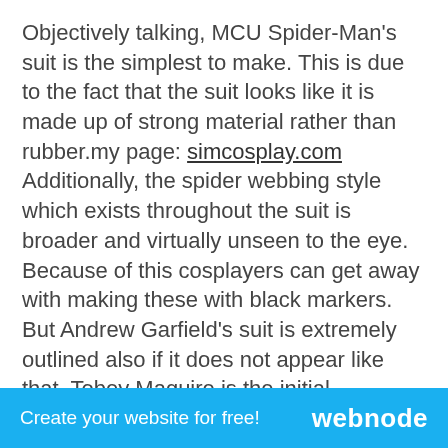Objectively talking, MCU Spider-Man's suit is the simplest to make. This is due to the fact that the suit looks like it is made up of strong material rather than rubber.my page: simcosplay.com Additionally, the spider webbing style which exists throughout the suit is broader and virtually unseen to the eye. Because of this cosplayers can get away with making these with black markers. But Andrew Garfield's suit is extremely outlined also if it does not appear like that. Tobey Maguire is the initial mainstream live-action Spider-Man and his suit still stays among the most effective. So, if you wish to stand out from the group after that opt for Tobey Maguire's suit.
To make the suit, you will initially need a muscular tissue suit and afterwards placed the red components of the suit material on it. After that continue to include heaven
Create your website for free!    webnode